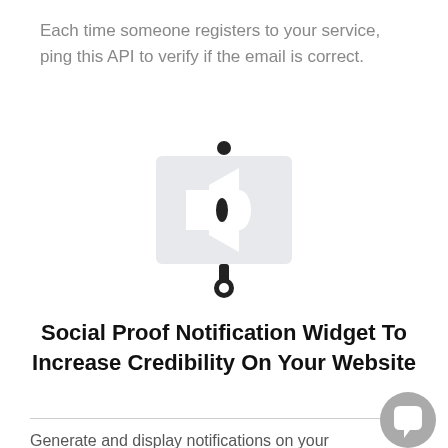Each time someone registers to your service, ping this API to verify if the email is correct.
[Figure (illustration): A megaphone / presentation board icon on a stand, drawn in a simple flat style with light gray background board and black megaphone shape.]
Social Proof Notification Widget To Increase Credibility On Your Website
Generate and display notifications on your website by installing a widget to show random messages to your visitors. This will increase